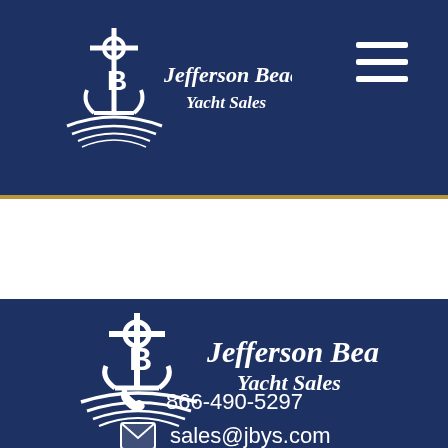[Figure (logo): Jefferson Beach Yacht Sales logo in header — anchor/boat icon with italic serif text]
[Figure (illustration): Hamburger menu icon (three white horizontal lines) in top right of header]
[Figure (logo): Jefferson Beach Yacht Sales logo in footer — larger anchor/boat icon with italic serif text]
866-490-5297
sales@jbys.com